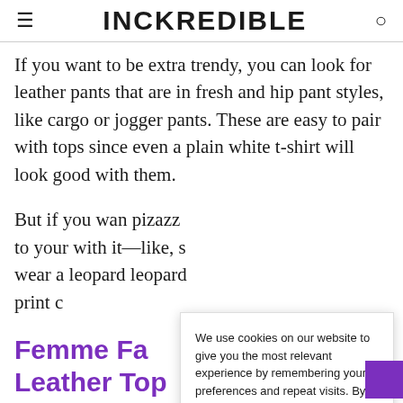INCKREDIBLE
If you want to be extra trendy, you can look for leather pants that are in fresh and hip pant styles, like cargo or jogger pants. These are easy to pair with tops since even a plain white t-shirt will look good with them.
But if you wan pizazz to your with it—like, s wear a leopard leopard print c
We use cookies on our website to give you the most relevant experience by remembering your preferences and repeat visits. By clicking "Accept All", you consent to the use of ALL the cookies. However, you may visit "Cookie Settings" to provide a controlled consent.
Cookie Settings   Accept All
Femme Fa Leather Top